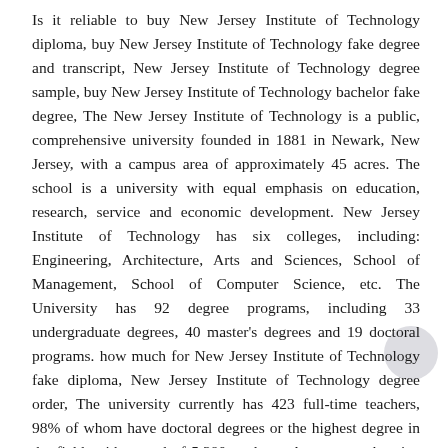Is it reliable to buy New Jersey Institute of Technology diploma, buy New Jersey Institute of Technology fake degree and transcript, New Jersey Institute of Technology degree sample, buy New Jersey Institute of Technology bachelor fake degree, The New Jersey Institute of Technology is a public, comprehensive university founded in 1881 in Newark, New Jersey, with a campus area of approximately 45 acres. The school is a university with equal emphasis on education, research, service and economic development. New Jersey Institute of Technology has six colleges, including: Engineering, Architecture, Arts and Sciences, School of Management, School of Computer Science, etc. The University has 92 degree programs, including 33 undergraduate degrees, 40 master's degrees and 19 doctoral programs. how much for New Jersey Institute of Technology fake diploma, New Jersey Institute of Technology degree order, The university currently has 423 full-time teachers, 98% of whom have doctoral degrees or the highest degree in the field, with a total of 5,380 students. As a comprehensive research institute, New Jersey Institute of Technology has a